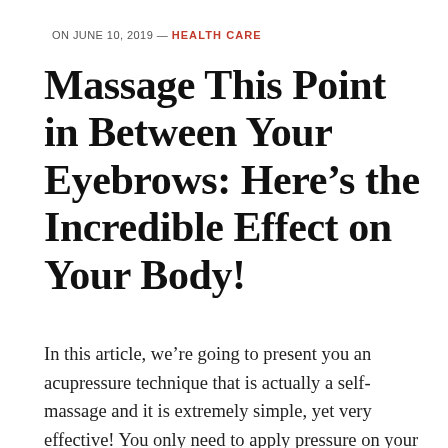ON JUNE 10, 2019 — HEALTH CARE
Massage This Point in Between Your Eyebrows: Here’s the Incredible Effect on Your Body!
In this article, we’re going to present you an acupressure technique that is actually a self-massage and it is extremely simple, yet very effective! You only need to apply pressure on your forehead. This massage will help you in